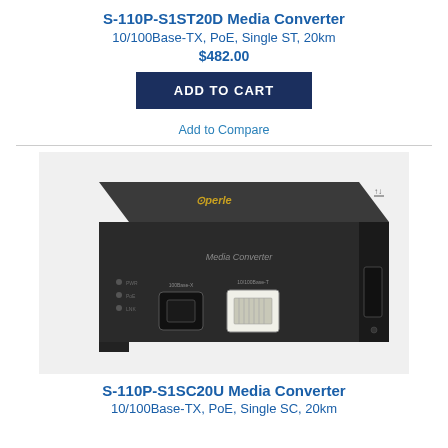S-110P-S1ST20D Media Converter
10/100Base-TX, PoE, Single ST, 20km
$482.00
ADD TO CART
Add to Compare
[Figure (photo): Perle S-110P Media Converter device, dark grey rectangular box with fiber optic and RJ45 ethernet ports on the front, Perle logo on top, labeled 'Media Converter']
S-110P-S1SC20U Media Converter
10/100Base-TX, PoE, Single SC, 20km